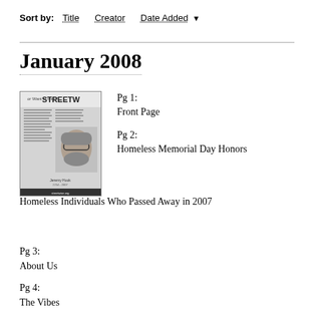Sort by:  Title  Creator  Date Added ▼
January 2008
[Figure (photo): Thumbnail image of a newspaper front page with 'STREETWISE' header and a photo of a man with glasses]
Pg 1:
Front Page
Pg 2:
Homeless Memorial Day Honors Homeless Individuals Who Passed Away in 2007
Pg 3:
About Us
Pg 4:
The Vibes